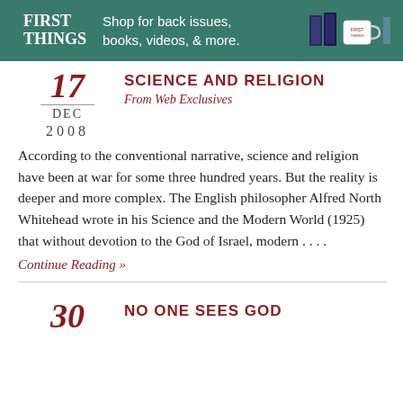[Figure (other): First Things banner advertisement: green background with white FIRST THINGS logo, text 'Shop for back issues, books, videos, & more.' and icons of books and a mug on the right.]
SCIENCE AND RELIGION
From Web Exclusives
17 DEC 2008
According to the conventional narrative, science and religion have been at war for some three hundred years. But the reality is deeper and more complex. The English philosopher Alfred North Whitehead wrote in his Science and the Modern World (1925) that without devotion to the God of Israel, modern . . . .
Continue Reading »
NO ONE SEES GOD
30